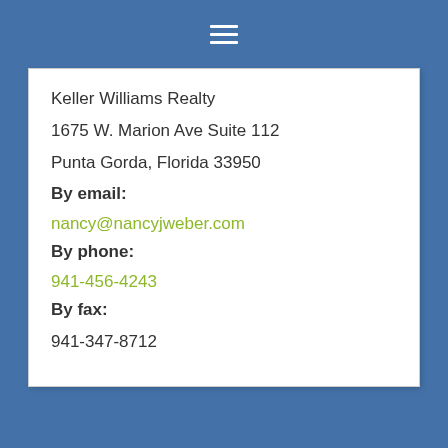≡
Keller Williams Realty
1675 W. Marion Ave Suite 112
Punta Gorda, Florida 33950
By email:
nancy@nancyjweber.com
By phone:
941-456-4243
By fax:
941-347-8712
^ Back to Top
ABOUT NANCY....